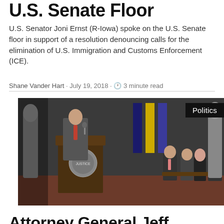U.S. Senate Floor
U.S. Senator Joni Ernst (R-Iowa) spoke on the U.S. Senate floor in support of a resolution denouncing calls for the elimination of U.S. Immigration and Customs Enforcement (ICE).
Shane Vander Hart · July 19, 2018 · 3 minute read
[Figure (photo): A man in a suit speaks at a podium with the Department of Justice seal. Several people sit in chairs behind him. American flags and statues are visible in the background.]
Politics
Attorney General Jeff